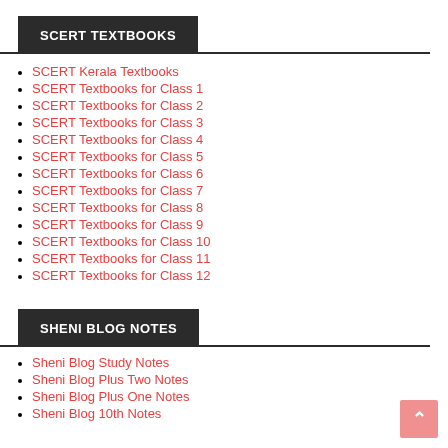SCERT TEXTBOOKS
SCERT Kerala Textbooks
SCERT Textbooks for Class 1
SCERT Textbooks for Class 2
SCERT Textbooks for Class 3
SCERT Textbooks for Class 4
SCERT Textbooks for Class 5
SCERT Textbooks for Class 6
SCERT Textbooks for Class 7
SCERT Textbooks for Class 8
SCERT Textbooks for Class 9
SCERT Textbooks for Class 10
SCERT Textbooks for Class 11
SCERT Textbooks for Class 12
SHENI BLOG NOTES
Sheni Blog Study Notes
Sheni Blog Plus Two Notes
Sheni Blog Plus One Notes
Sheni Blog 10th Notes